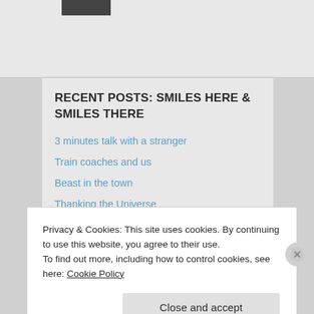[Figure (photo): Partial profile photo/avatar image at top left]
RECENT POSTS: SMILES HERE & SMILES THERE
3 minutes talk with a stranger
Train coaches and us
Beast in the town
Thanking the Universe
Blessing in disguise
Privacy & Cookies: This site uses cookies. By continuing to use this website, you agree to their use.
To find out more, including how to control cookies, see here: Cookie Policy
Close and accept